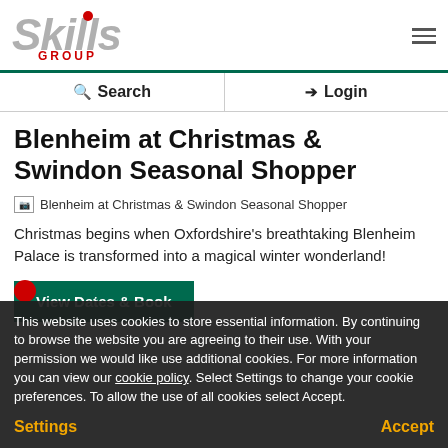[Figure (logo): Skills Group logo with red dot and GROUP text in red]
Search | Login
Blenheim at Christmas & Swindon Seasonal Shopper
[Figure (photo): Broken image placeholder for Blenheim at Christmas & Swindon Seasonal Shopper]
Christmas begins when Oxfordshire's breathtaking Blenheim Palace is transformed into a magical winter wonderland!
View Dates & Book
This website uses cookies to store essential information. By continuing to browse the website you are agreeing to their use. With your permission we would like use additional cookies. For more information you can view our cookie policy. Select Settings to change your cookie preferences. To allow the use of all cookies select Accept.
Settings | Other Information | Accept